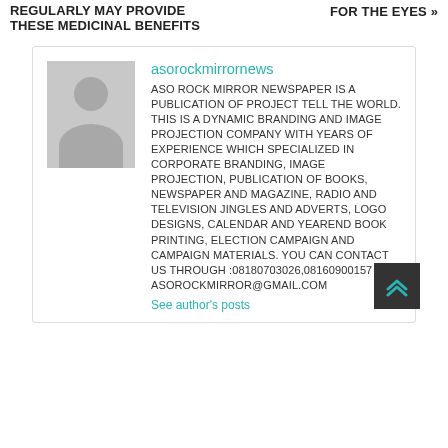REGULARLY MAY PROVIDE THESE MEDICINAL BENEFITS | FOR THE EYES »
asorockmirrornews
ASO ROCK MIRROR NEWSPAPER IS A PUBLICATION OF PROJECT TELL THE WORLD. THIS IS A DYNAMIC BRANDING AND IMAGE PROJECTION COMPANY WITH YEARS OF EXPERIENCE WHICH SPECIALIZED IN CORPORATE BRANDING, IMAGE PROJECTION, PUBLICATION OF BOOKS, NEWSPAPER AND MAGAZINE, RADIO AND TELEVISION JINGLES AND ADVERTS, LOGO DESIGNS, CALENDAR AND YEAREND BOOK PRINTING, ELECTION CAMPAIGN AND CAMPAIGN MATERIALS. YOU CAN CONTACT US THROUGH :08180703026,08160900157 asorockmirror@gmail.com
See author's posts